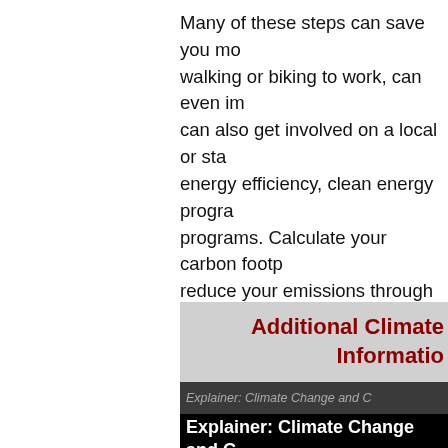Many of these steps can save you mo... walking or biking to work, can even im... can also get involved on a local or sta... energy efficiency, clean energy progra... programs. Calculate your carbon footp... reduce your emissions through simple...
Additional Climate Information
[Figure (screenshot): Article card with dark background showing 'Explainer: Climate Change and C...' title with image overlay and 'by VOA' byline]